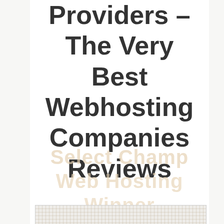Providers – The Very Best Webhosting Companies Reviews
[Figure (other): Faded watermark-style text reading 'Select Champ Web Hosting Winner' in light beige/tan color behind main content]
[Figure (other): Dotted/grid pattern table area at the bottom of the page, partially visible]